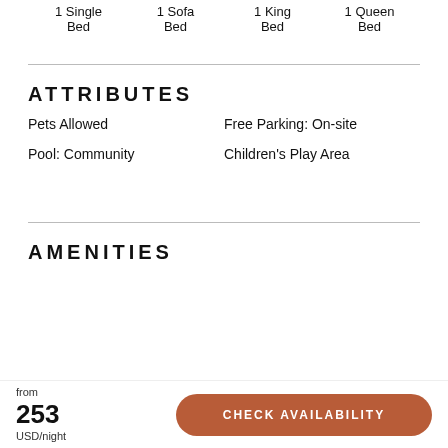1 Single Bed   1 Sofa Bed   1 King Bed   1 Queen Bed
ATTRIBUTES
Pets Allowed
Free Parking: On-site
Pool: Community
Children's Play Area
AMENITIES
from 253 USD/night
CHECK AVAILABILITY